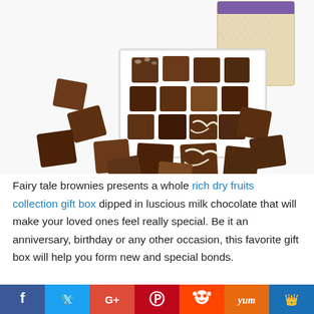[Figure (photo): A display of assorted mini brownies including walnut, chocolate, and marble varieties arranged around a white box, with a decorative gift box in the background.]
Fairy tale brownies presents a whole rich dry fruits collection gift box dipped in luscious milk chocolate that will make your loved ones feel really special. Be it an anniversary, birthday or any other occasion, this favorite gift box will help you form new and special bonds.
14. Edible Arrangements Fresh Chocolate